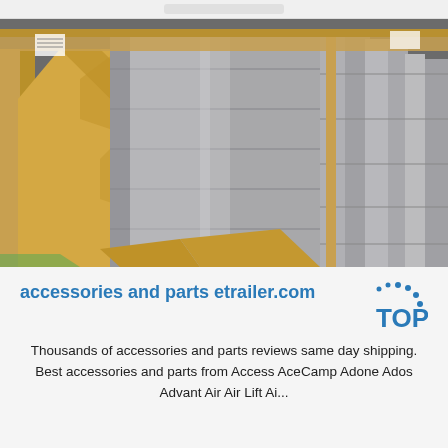[Figure (photo): Stacked aluminum or metal sheets wrapped in brown kraft paper packaging, stored in a warehouse setting with green flooring visible.]
accessories and parts etrailer.com
Thousands of accessories and parts reviews same day shipping. Best accessories and parts from Access AceCamp Adone Ados Advant Air Air Lift Ai...